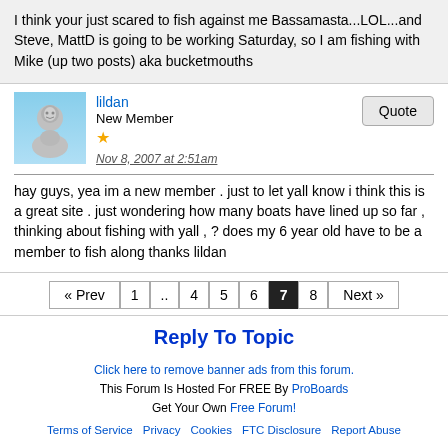I think your just scared to fish against me Bassamasta...LOL...and Steve, MattD is going to be working Saturday, so I am fishing with Mike (up two posts) aka bucketmouths
lildan
New Member
★
Nov 8, 2007 at 2:51am
hay guys, yea im a new member . just to let yall know i think this is a great site . just wondering how many boats have lined up so far , thinking about fishing with yall , ? does my 6 year old have to be a member to fish along thanks lildan
« Prev  1  ..  4  5  6  7  8  Next »
Reply To Topic
Click here to remove banner ads from this forum.
This Forum Is Hosted For FREE By ProBoards
Get Your Own Free Forum!
Terms of Service  Privacy  Cookies  FTC Disclosure  Report Abuse  Do Not Sell My Personal Information